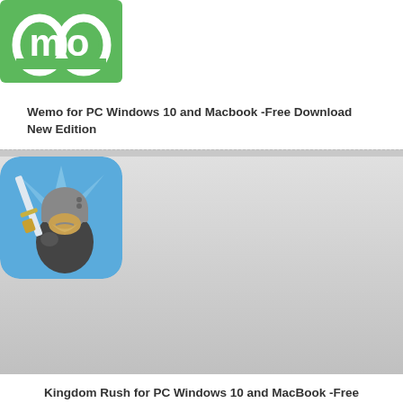[Figure (screenshot): Wemo app logo - green square with white 'mo' text and circular icon]
Wemo for PC Windows 10 and Macbook -Free Download New Edition
[Figure (screenshot): Kingdom Rush app icon - animated knight duck character with sword and helmet on blue background]
Kingdom Rush for PC Windows 10 and MacBook -Free Download